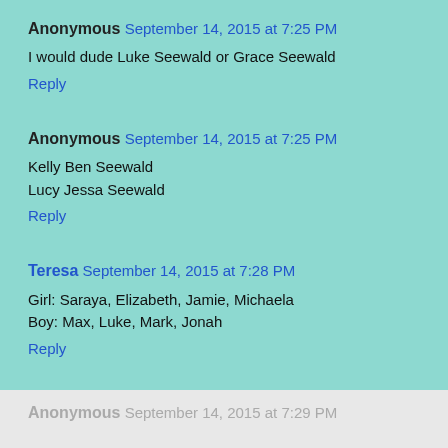Anonymous September 14, 2015 at 7:25 PM
I would dude Luke Seewald or Grace Seewald
Reply
Anonymous September 14, 2015 at 7:25 PM
Kelly Ben Seewald
Lucy Jessa Seewald
Reply
Teresa September 14, 2015 at 7:28 PM
Girl: Saraya, Elizabeth, Jamie, Michaela
Boy: Max, Luke, Mark, Jonah
Reply
Anonymous September 14, 2015 at 7:29 PM